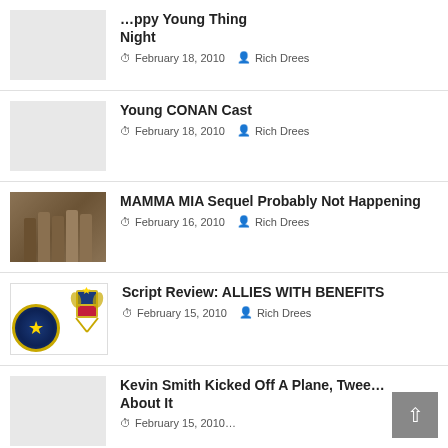…ppy Young Thing Night — February 18, 2010 — Rich Drees
Young CONAN Cast — February 18, 2010 — Rich Drees
MAMMA MIA Sequel Probably Not Happening — February 16, 2010 — Rich Drees
Script Review: ALLIES WITH BENEFITS — February 15, 2010 — Rich Drees
Kevin Smith Kicked Off A Plane, Twee… About It — February 15, 2010